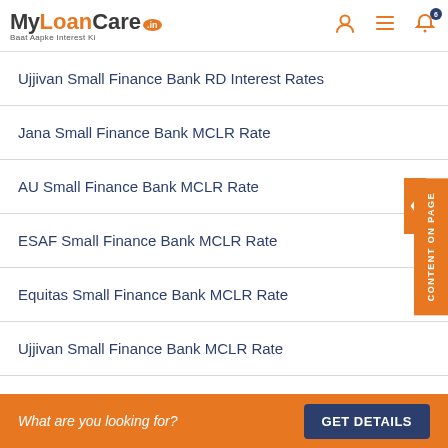MyLoanCare.in - Baat Aapke Interest Ki
Ujjivan Small Finance Bank RD Interest Rates
Jana Small Finance Bank MCLR Rate
AU Small Finance Bank MCLR Rate
ESAF Small Finance Bank MCLR Rate
Equitas Small Finance Bank MCLR Rate
Ujjivan Small Finance Bank MCLR Rate
Highest FD Interest Rates
CONTENT ON PAGE
What are you looking for? GET DETAILS